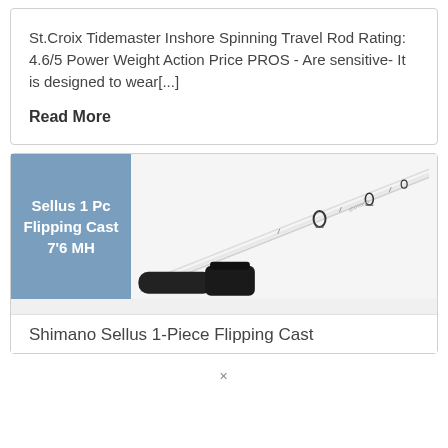St.Croix Tidemaster Inshore Spinning Travel Rod Rating: 4.6/5 Power Weight Action Price PROS - Are sensitive- It is designed to wear[...]
Read More
[Figure (photo): Product card showing a white fishing rod with black handle and reel seat. An overlay label on the left reads 'Sellus 1 Pc Flipping Cast 7'6 MH' on a steel blue background.]
Shimano Sellus 1-Piece Flipping Cast